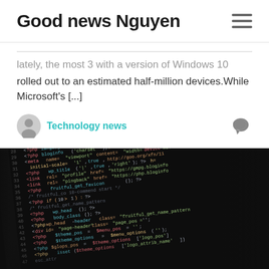Good news Nguyen
...lately, the most 3 with a version of Windows 10 rolled out to an estimated half-million devices.While Microsoft's [...]
Technology news
[Figure (photo): A dark screen showing PHP/HTML source code in a code editor, photographed at an angle with shallow depth of field. Code lines are colorfully syntax-highlighted in red, green, yellow, cyan and white on a near-black background.]